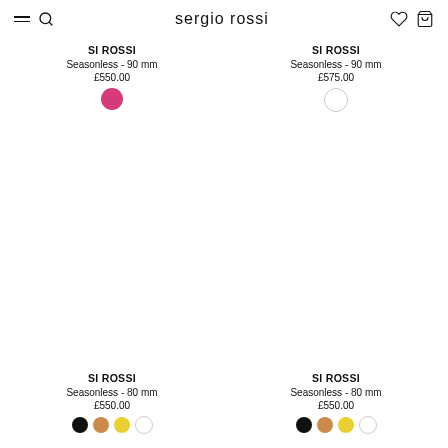sergio rossi
SI ROSSI
Seasonless - 90 mm
£550.00
SI ROSSI
Seasonless - 90 mm
£575.00
SI ROSSI
Seasonless - 80 mm
£550.00
SI ROSSI
Seasonless - 80 mm
£550.00